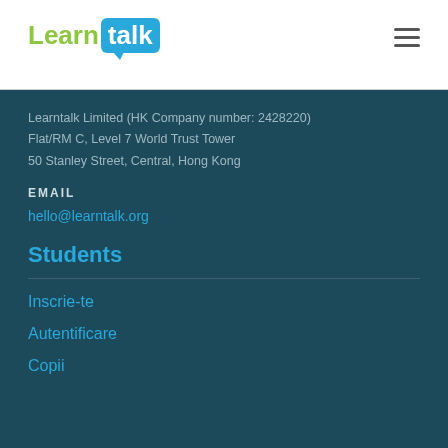[Figure (logo): Learntalk logo with green 'Learn' text and blue speech bubble containing white 'talk' text]
Learntalk Limited (HK Company number: 2428220)
Flat/RM C, Level 7 World Trust Tower
50 Stanley Street, Central, Hong Kong
EMAIL
hello@learntalk.org
Students
Inscrie-te
Autentificare
Copii